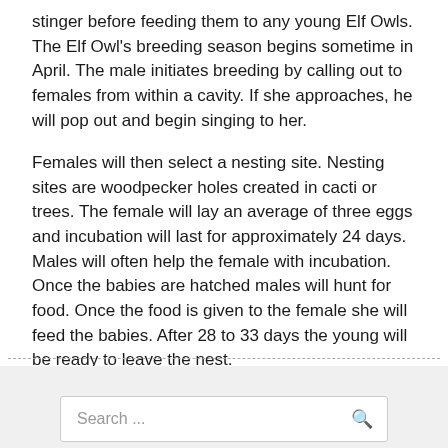stinger before feeding them to any young Elf Owls. The Elf Owl's breeding season begins sometime in April. The male initiates breeding by calling out to females from within a cavity. If she approaches, he will pop out and begin singing to her.
Females will then select a nesting site. Nesting sites are woodpecker holes created in cacti or trees. The female will lay an average of three eggs and incubation will last for approximately 24 days. Males will often help the female with incubation. Once the babies are hatched males will hunt for food. Once the food is given to the female she will feed the babies. After 28 to 33 days the young will be ready to leave the nest.
Search ...